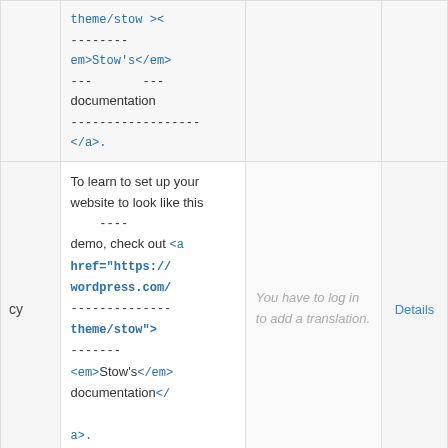| lang | source | translation | actions |
| --- | --- | --- | --- |
|  | theme/stow >< -------- em>Stow's</em> --- --- documentation ------------------ </a>. | You have to log in to add a translation. | Details |
| cy | To learn to set up your website to look like this ---- demo, check out <a href="https://wordpress.com/-------------- theme/stow"> ------- <em>Stow's</em> documentation</ a>. | You have to log in to add a translation. | Details |
|  | To learn to set up your website to look like this demo, check out <a | You have to log in |  |